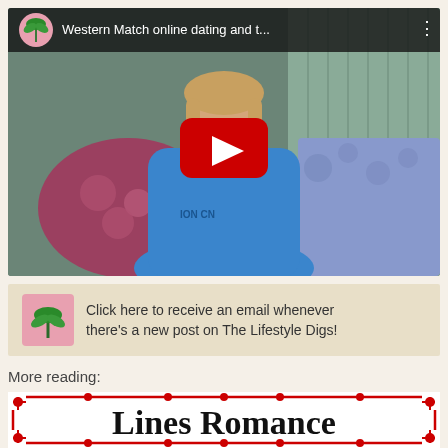[Figure (screenshot): YouTube video thumbnail showing a woman in a blue hoodie seated on a couch with a YouTube play button overlay. Top bar shows channel icon (palm tree on pink background) and title 'Western Match online dating and t...' with three-dot menu.]
[Figure (screenshot): Email subscription banner with palm tree icon on pink background and text: 'Click here to receive an email whenever there's a new post on The Lifestyle Digs!']
More reading:
[Figure (illustration): Decorative red ornamental border frame containing bold serif text 'Lines Romance' partially visible at bottom of page.]